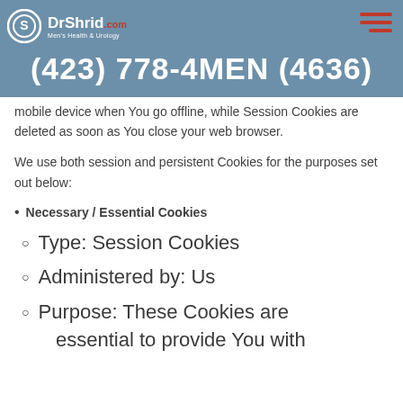DrShrid.com | (423) 778-4MEN (4636)
mobile device when You go offline, while Session Cookies are deleted as soon as You close your web browser.
We use both session and persistent Cookies for the purposes set out below:
Necessary / Essential Cookies
Type: Session Cookies
Administered by: Us
Purpose: These Cookies are essential to provide You with